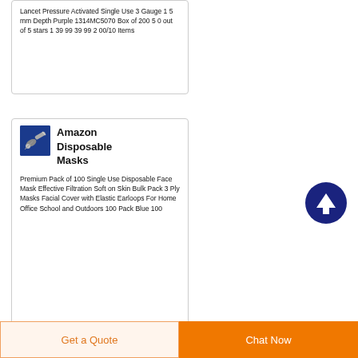Lancet Pressure Activated Single Use 3 Gauge 1 5 mm Depth Purple 1314MC5070 Box of 200 5 0 out of 5 stars 1 39 99 39 99 2 00/10 Items
[Figure (photo): Small product thumbnail image on blue background showing medical lancet device]
Amazon Disposable Masks
Premium Pack of 100 Single Use Disposable Face Mask Effective Filtration Soft on Skin Bulk Pack 3 Ply Masks Facial Cover with Elastic Earloops For Home Office School and Outdoors 100 Pack Blue 100
[Figure (other): Dark navy circular scroll-to-top button with white upward arrow]
Get a Quote
Chat Now